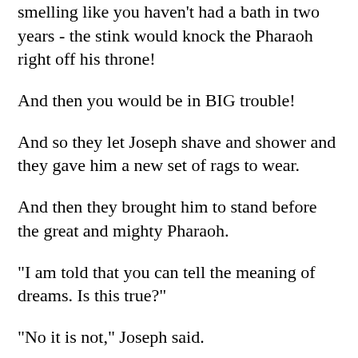smelling like you haven't had a bath in two years - the stink would knock the Pharaoh right off his throne!
And then you would be in BIG trouble!
And so they let Joseph shave and shower and they gave him a new set of rags to wear.
And then they brought him to stand before the great and mighty Pharaoh.
"I am told that you can tell the meaning of dreams. Is this true?"
"No it is not," Joseph said.